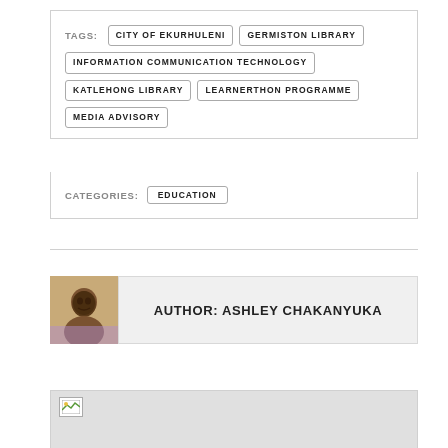TAGS: CITY OF EKURHULENI  GERMISTON LIBRARY  INFORMATION COMMUNICATION TECHNOLOGY  KATLEHONG LIBRARY  LEARNERTHON PROGRAMME  MEDIA ADVISORY
CATEGORIES: EDUCATION
AUTHOR: ASHLEY CHAKANYUKA
[Figure (photo): Partially visible image placeholder at bottom of page]